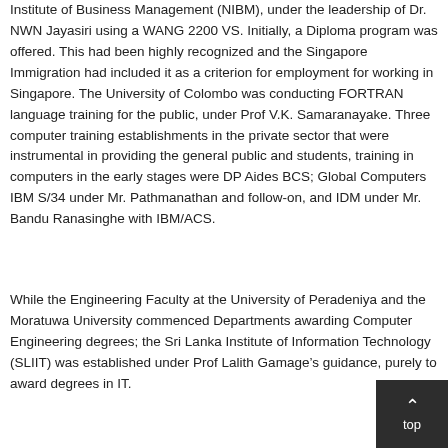Institute of Business Management (NIBM), under the leadership of Dr. NWN Jayasiri using a WANG 2200 VS. Initially, a Diploma program was offered. This had been highly recognized and the Singapore Immigration had included it as a criterion for employment for working in Singapore. The University of Colombo was conducting FORTRAN language training for the public, under Prof V.K. Samaranayake. Three computer training establishments in the private sector that were instrumental in providing the general public and students, training in computers in the early stages were DP Aides BCS; Global Computers IBM S/34 under Mr. Pathmanathan and follow-on, and IDM under Mr. Bandu Ranasinghe with IBM/ACS.
While the Engineering Faculty at the University of Peradeniya and the Moratuwa University commenced Departments awarding Computer Engineering degrees; the Sri Lanka Institute of Information Technology (SLIIT) was established under Prof Lalith Gamage’s guidance, purely to award degrees in IT.